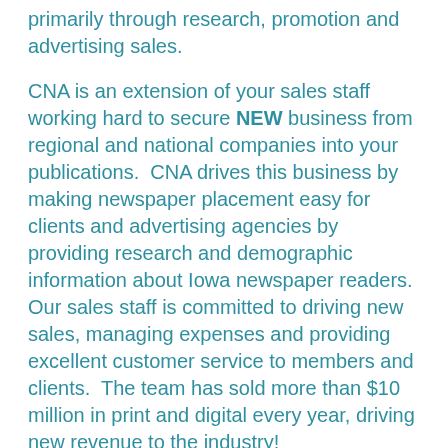primarily through research, promotion and advertising sales.
CNA is an extension of your sales staff working hard to secure NEW business from regional and national companies into your publications.  CNA drives this business by making newspaper placement easy for clients and advertising agencies by providing research and demographic information about Iowa newspaper readers. Our sales staff is committed to driving new sales, managing expenses and providing excellent customer service to members and clients.  The team has sold more than $10 million in print and digital every year, driving new revenue to the industry!
CNA also commissions research on a regular basis to examine consumer habits and newspaper readership on a statewide level. This research assists the selling process to clients and advertising agencies.
CNA also offers member newspapers the opportunity to